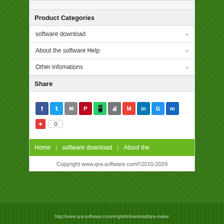Product Categories
software download
About the software Help
Other infomations
Share
[Figure (other): Social share buttons: Facebook, Twitter, Email, Pinterest, WhatsApp, Print, Gmail, LinkedIn, Google, Messenger, plus a +0 counter button]
Home | software download | About the
Copyright www.qra-software.com©2010-2029